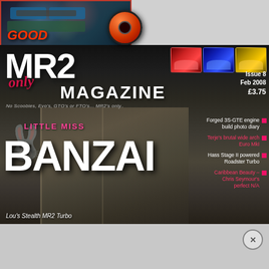[Figure (photo): Engine bay photo with red border, showing a modified car engine with blue intake pipes and a red air filter cone on the right side. Text 'GOOD' in red italic at bottom left.]
[Figure (photo): MR2 Only Magazine cover, Issue 8, Feb 2008, £3.75. Dark background showing a stealth MR2 Turbo. Logo reads 'MR2 only MAGAZINE'. Three cars shown top right (red, blue, yellow MR2s). Cover story: Little Miss BANZAI - Lou's Stealth MR2 Turbo. Feature list on right side.]
MR2 only MAGAZINE
Issue 8
Feb 2008
£3.75
No Scoobies, Evo's, GTO's or FTO's... MR2's only..
Forged 3S-GTE engine build photo diary
Terje's brutal wide arch Euro MkI
Hass Stage II powered Roadster Turbo
Caribbean Beauty – Chris Seymour's perfect N/A
LITTLE MISS BANZAI
Lou's Stealth MR2 Turbo